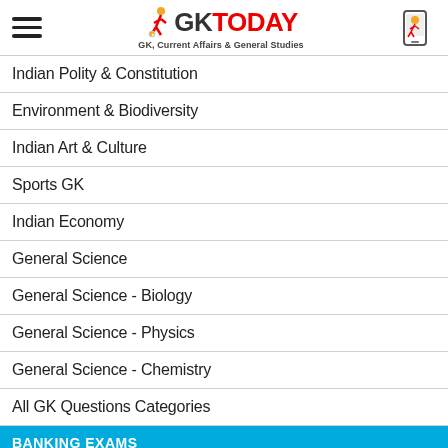GK TODAY — GK, Current Affairs & General Studies
Indian Polity & Constitution
Environment & Biodiversity
Indian Art & Culture
Sports GK
Indian Economy
General Science
General Science - Biology
General Science - Physics
General Science - Chemistry
All GK Questions Categories
BANKING EXAMS
Banking Awareness